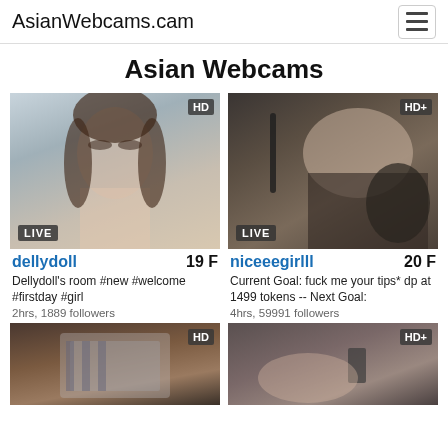AsianWebcams.cam
Asian Webcams
[Figure (screenshot): Live webcam thumbnail for dellydoll, HD badge, LIVE badge]
dellydoll   19 F
Dellydoll's room #new #welcome #firstday #girl
2hrs, 1889 followers
[Figure (screenshot): Live webcam thumbnail for niceeegirlll, HD+ badge, LIVE badge]
niceeegirlll   20 F
Current Goal: fuck me your tips* dp at 1499 tokens -- Next Goal:
4hrs, 59991 followers
[Figure (screenshot): Webcam thumbnail, HD badge, partial view]
[Figure (screenshot): Webcam thumbnail, HD+ badge, partial view]